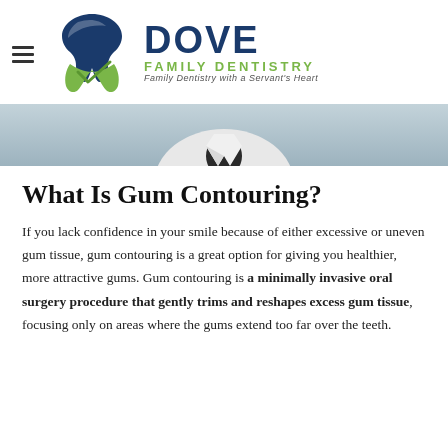[Figure (logo): Dove Family Dentistry logo with tooth icon, dark blue DOVE text, green FAMILY DENTISTRY text, and tagline 'Family Dentistry with a Servant's Heart']
[Figure (photo): Partial photo of a person in a white coat (dental professional), showing torso area, with a light blue-gray background]
What Is Gum Contouring?
If you lack confidence in your smile because of either excessive or uneven gum tissue, gum contouring is a great option for giving you healthier, more attractive gums. Gum contouring is a minimally invasive oral surgery procedure that gently trims and reshapes excess gum tissue, focusing only on areas where the gums extend too far over the teeth.